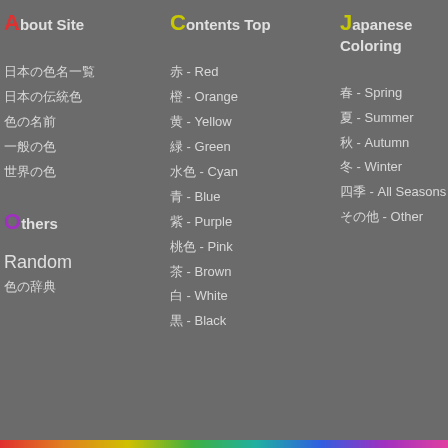About Site
日本の色名一覧
日本の伝統色
色の名前
一般の色
世界の色
Others
Random
色の辞典
Contents Top
赤 - Red
橙 - Orange
黄 - Yellow
緑 - Green
水色 - Cyan
青 - Blue
紫 - Purple
桃色 - Pink
茶 - Brown
白 - White
黒 - Black
Japanese Coloring
春 - Spring
夏 - Summer
秋 - Autumn
冬 - Winter
四季 - All Seasons
その他 - Other